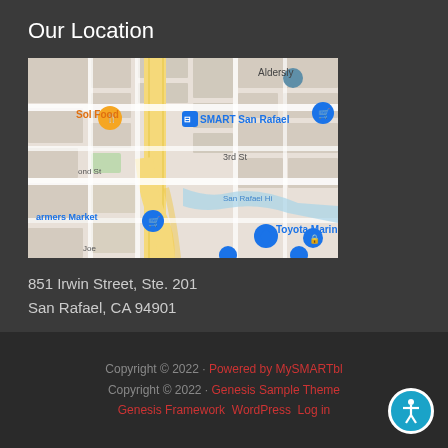Our Location
[Figure (map): Google Maps view showing San Rafael, CA area with markers for Sol Food, SMART San Rafael, Aldersly, Toyota Marin, and Farmers Market. Streets visible include 3rd St, 2nd St. San Rafael Hi(lls) visible.]
851 Irwin Street, Ste. 201
San Rafael, CA 94901
Copyright © 2022 · Powered by MySMARTbl
Copyright © 2022 · Genesis Sample Theme
Genesis Framework · WordPress · Log in